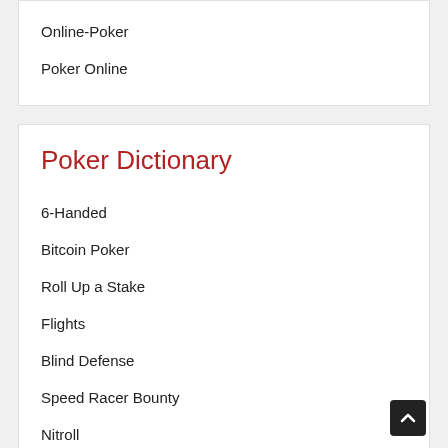Online-Poker
Poker Online
Poker Dictionary
6-Handed
Bitcoin Poker
Roll Up a Stake
Flights
Blind Defense
Speed Racer Bounty
Nitroll
GG Spring Festival